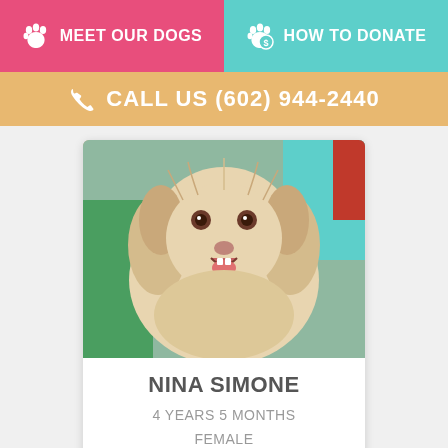MEET OUR DOGS
HOW TO DONATE
CALL US (602) 944-2440
[Figure (photo): Close-up photo of a fluffy white/cream-colored dog with brown eyes and an open mouth smile, appearing happy. Background shows colorful elements.]
NINA SIMONE
4 YEARS 5 MONTHS
FEMALE